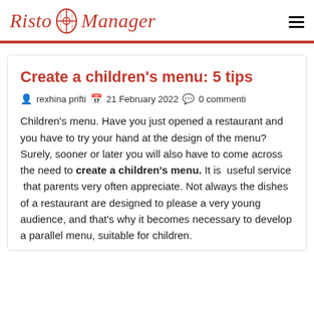Risto Manager
Create a children's menu: 5 tips
rexhina prifti  21 February 2022  0 commenti
Children's menu. Have you just opened a restaurant and you have to try your hand at the design of the menu? Surely, sooner or later you will also have to come across the need to create a children's menu. It is  useful service  that parents very often appreciate. Not always the dishes of a restaurant are designed to please a very young audience, and that's why it becomes necessary to develop a parallel menu, suitable for children.